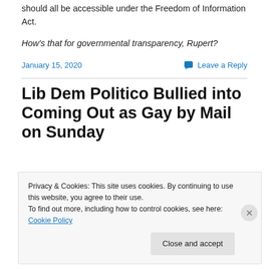should all be accessible under the Freedom of Information Act.
How’s that for governmental transparency, Rupert?
January 15, 2020
Leave a Reply
Lib Dem Politico Bullied into Coming Out as Gay by Mail on Sunday
Privacy & Cookies: This site uses cookies. By continuing to use this website, you agree to their use.
To find out more, including how to control cookies, see here: Cookie Policy
Close and accept